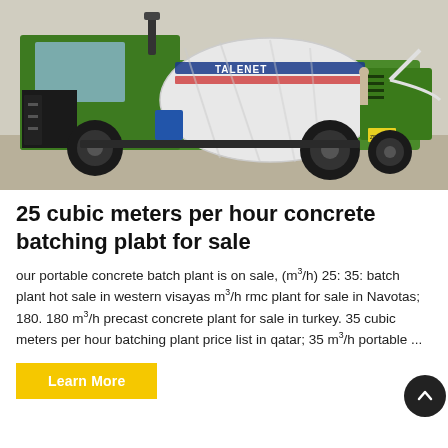[Figure (photo): A green self-loading concrete mixer truck (branded TALENET) photographed outdoors on a gravel surface. The truck has a white rotating drum, large black tires, and green bodywork with yellow license plate.]
25 cubic meters per hour concrete batching plabt for sale
our portable concrete batch plant is on sale, (m³/h) 25: 35: batch plant hot sale in western visayas m³/h rmc plant for sale in Navotas; 180. 180 m³/h precast concrete plant for sale in turkey. 35 cubic meters per hour batching plant price list in qatar; 35 m³/h portable ...
Learn More